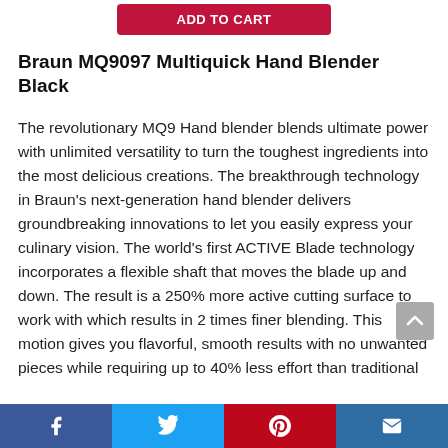[Figure (other): Red 'Add to Cart' button at top of page]
Braun MQ9097 Multiquick Hand Blender Black
The revolutionary MQ9 Hand blender blends ultimate power with unlimited versatility to turn the toughest ingredients into the most delicious creations. The breakthrough technology in Braun's next-generation hand blender delivers groundbreaking innovations to let you easily express your culinary vision. The world's first ACTIVE Blade technology incorporates a flexible shaft that moves the blade up and down. The result is a 250% more active cutting surface to work with which results in 2 times finer blending. This motion gives you flavorful, smooth results with no unwanted pieces while requiring up to 40% less effort than traditional
[Figure (other): Social sharing bar with Facebook, Twitter, Pinterest, and Email buttons]